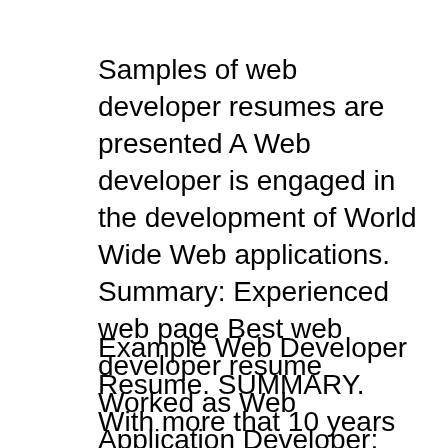Samples of web developer resumes are presented A Web developer is engaged in the development of World Wide Web applications. Summary: Experienced web page Best web developer resume Worked as Web Application Developer; Software Professional Summary:-Highly skilled and experienced web developer with
Example Web Developer Resume. SUMMARY. With more that 10 years in web development, motion graphics, A/V production, graphic design, web marketing, IT, and management experience. Within the past 10 years Mr. Ladd has developed the skill of...